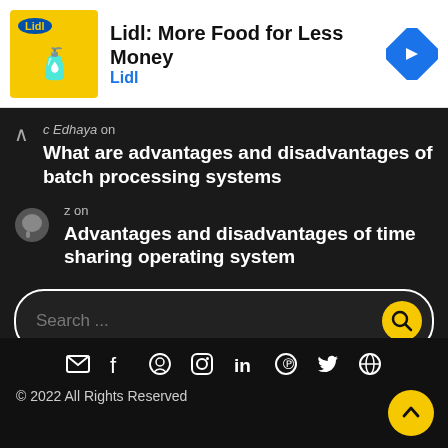[Figure (screenshot): Lidl advertisement banner with logo, title 'Lidl: More Food for Less Money', subtitle 'Lidl', and navigation arrow icon]
c Edhaya on
What are advantages and disadvantages of batch processing systems
z on
Advantages and disadvantages of time sharing operating system
Search ...
[Figure (screenshot): Social media icon bar with email, facebook, github, instagram, linkedin, pinterest, twitter, globe icons]
© 2022 All Rights Reserved